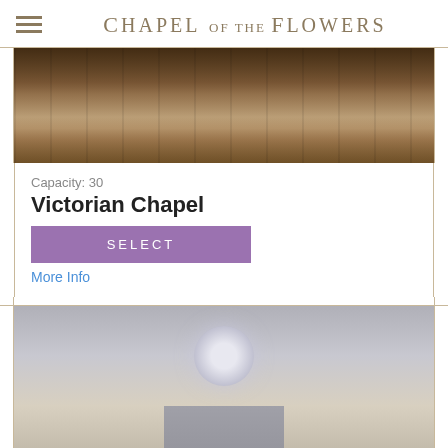Chapel of the Flowers
[Figure (photo): Interior of Victorian Chapel showing wooden pews arranged in rows with aisle leading to altar, warm lighting]
Capacity: 30
Victorian Chapel
SELECT
More Info
[Figure (photo): Interior of a modern chapel with white walls, chandelier, altar area with uplighting and white benches]
Capacity: 20